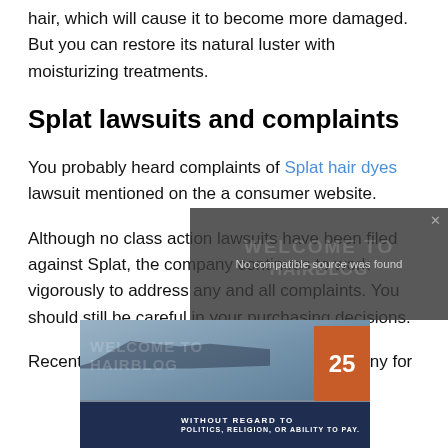hair, which will cause it to become more damaged. But you can restore its natural luster with moisturizing treatments.
Splat lawsuits and complaints
You probably heard complaints of Splat hair dyes lawsuit mentioned on the a consumer website.
Although no class action lawsuits have been filed against Splat, the company continues to work vigorously to address any and all complaints. You should still be careful in your purchasing decisions.
Recently, Splat has been under heavier scrutiny for
[Figure (screenshot): Video overlay showing 'No compatible source was found' message with a watermarked background, and an advertisement banner showing a plane with text 'WITHOUT REGARD TO' and a close X button]